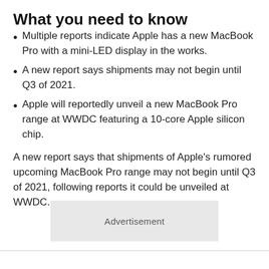What you need to know
Multiple reports indicate Apple has a new MacBook Pro with a mini-LED display in the works.
A new report says shipments may not begin until Q3 of 2021.
Apple will reportedly unveil a new MacBook Pro range at WWDC featuring a 10-core Apple silicon chip.
A new report says that shipments of Apple's rumored upcoming MacBook Pro range may not begin until Q3 of 2021, following reports it could be unveiled at WWDC.
Advertisement